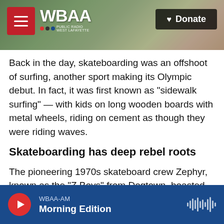WBAA | Donate
Back in the day, skateboarding was an offshoot of surfing, another sport making its Olympic debut. In fact, it was first known as "sidewalk surfing" — with kids on long wooden boards with metal wheels, riding on cement as though they were riding waves.
Skateboarding has deep rebel roots
The pioneering 1970s skateboard crew Zephyr, known as the "Z Boys" from Dogtown, boasted of sneaking into and draining backyard swimming pools to skate inside them. Skateboarders looking for off-limits locations would get stopped by police.
WBAA-AM Morning Edition